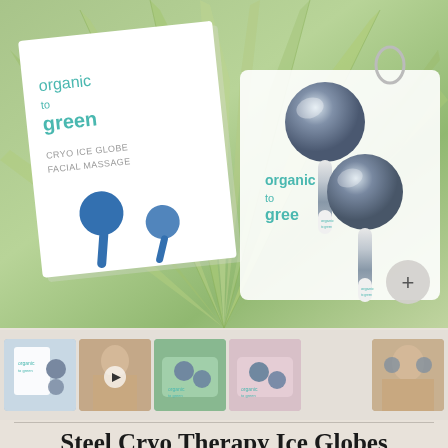[Figure (photo): Organic to Green Cryo Ice Globe Facial Massage product set displayed on palm leaves. Shows white product box with teal branding, two steel ice globes on white branded pouch, and close-up of the globes with handles branded 'organic to green'. A circular plus (+) button is visible in the bottom right.]
[Figure (photo): Thumbnail 1: Product box with ice globes on white background]
[Figure (photo): Thumbnail 2: Video thumbnail of woman using the product with play button overlay]
[Figure (photo): Thumbnail 3: Ice globes on green/teal pouch]
[Figure (photo): Thumbnail 4: Ice globes on pink/light colored pouch]
[Figure (photo): Thumbnail 5: Woman using ice globes on face/neck]
Steel Cryo Therapy Ice Globes